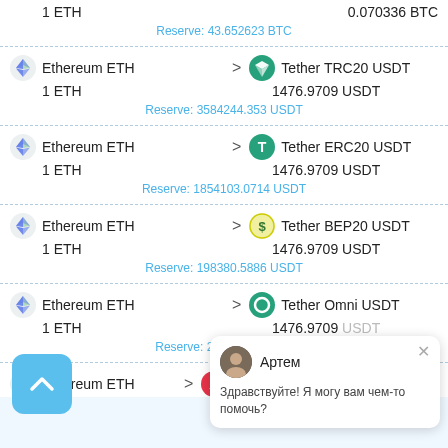1 ETH → 0.070336 BTC
Reserve: 43.652623 BTC
Ethereum ETH → Tether TRC20 USDT
1 ETH → 1476.9709 USDT
Reserve: 3584244.353 USDT
Ethereum ETH → Tether ERC20 USDT
1 ETH → 1476.9709 USDT
Reserve: 1854103.0714 USDT
Ethereum ETH → Tether BEP20 USDT
1 ETH → 1476.9709 USDT
Reserve: 198380.5886 USDT
Ethereum ETH → Tether Omni USDT
1 ETH → 1476.9709 USDT
Reserve: 223099.? USDT
Ethereum ETH → Alfabank cash in
Артем
Здравствуйте! Я могу вам чем-то помочь?